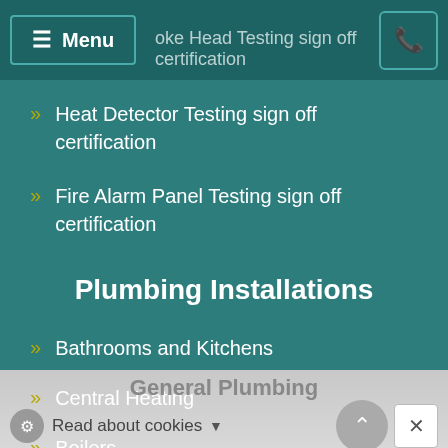Menu  oke Head Testing sign off certification
Heat Detector Testing sign off certification
Fire Alarm Panel Testing sign off certification
Plumbing Installations
Bathrooms and Kitchens
Central Heating
Boilers
General Plumbing  Read about cookies
c